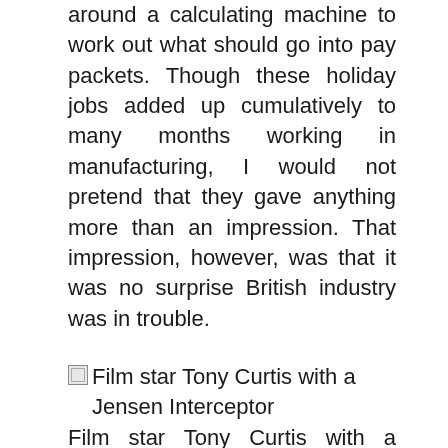around a calculating machine to work out what should go into pay packets. Though these holiday jobs added up cumulatively to many months working in manufacturing, I would not pretend that they gave anything more than an impression. That impression, however, was that it was no surprise British industry was in trouble.
Film star Tony Curtis with a Jensen Interceptor
Film star Tony Curtis with a Jensen Interceptor (ITV/REX Shutterstock)Jensen Motors in West Bromwich was a luxury car maker, established in the 1930s. It was known for big-engined sports saloons, most notably the Interceptor. It also made car bodies for other manufacturers, including the Austin Healey. The big Jensen cars